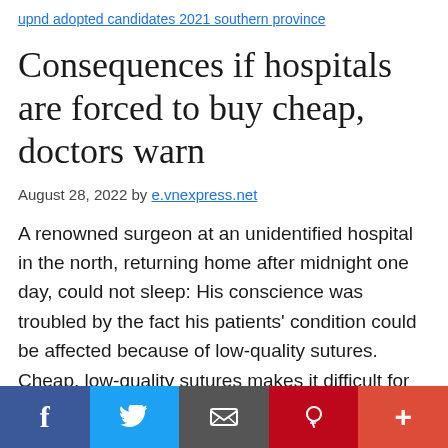upnd adopted candidates 2021 southern province
Consequences if hospitals are forced to buy cheap, doctors warn
August 28, 2022 by e.vnexpress.net
A renowned surgeon at an unidentified hospital in the north, returning home after midnight one day, could not sleep: His conscience was troubled by the fact his patients' condition could be affected because of low-quality sutures. Cheap, low-quality sutures makes it difficult for doctors to knot them,
Social sharing bar: Facebook, Twitter, Email, Pinterest, More